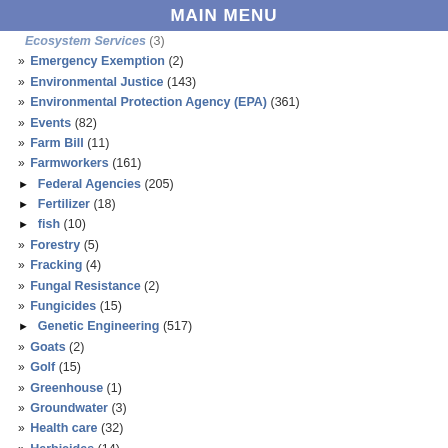MAIN MENU
Ecosystem Services (3)
» Emergency Exemption (2)
» Environmental Justice (143)
» Environmental Protection Agency (EPA) (361)
» Events (82)
» Farm Bill (11)
» Farmworkers (161)
► Federal Agencies (205)
► Fertilizer (18)
► fish (10)
» Forestry (5)
» Fracking (4)
» Fungal Resistance (2)
» Fungicides (15)
► Genetic Engineering (517)
» Goats (2)
» Golf (15)
» Greenhouse (1)
» Groundwater (3)
» Health care (32)
» Herbicides (14)
» Holidays (31)
» Household Use (6)
» Indigenous People (1)